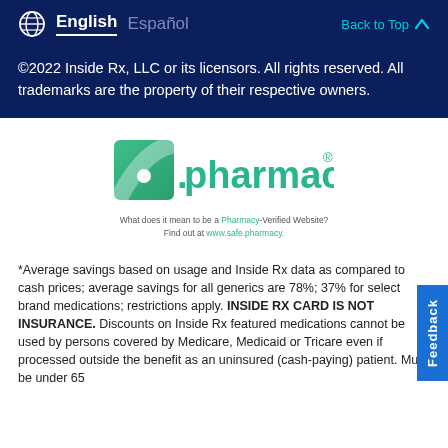English   Español   Back to Top
©2022 Inside Rx, LLC or its licensors. All rights reserved. All trademarks are the property of their respective owners.
[Figure (logo): .pharmacy logo with verified pharmacy badge and text: What does it mean to be a Pharmacy-Verified Website? Find out at www.safe.pharmacy.]
*Average savings based on usage and Inside Rx data as compared to cash prices; average savings for all generics are 78%; 37% for select brand medications; restrictions apply. INSIDE RX CARD IS NOT INSURANCE. Discounts on Inside Rx featured medications cannot be used by persons covered by Medicare, Medicaid or Tricare even if processed outside the benefit as an uninsured (cash-paying) patient. Must be under 65